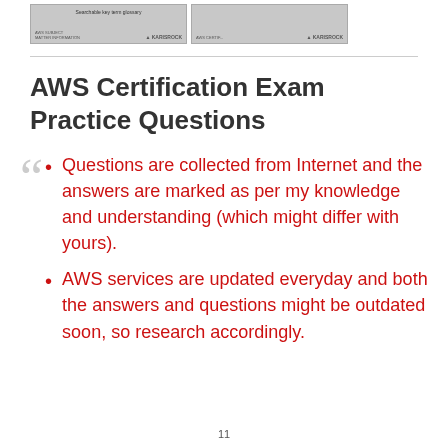[Figure (other): Two thumbnail images side by side showing document previews with 'Searchable key term glossary' text and branding]
AWS Certification Exam Practice Questions
Questions are collected from Internet and the answers are marked as per my knowledge and understanding (which might differ with yours).
AWS services are updated everyday and both the answers and questions might be outdated soon, so research accordingly.